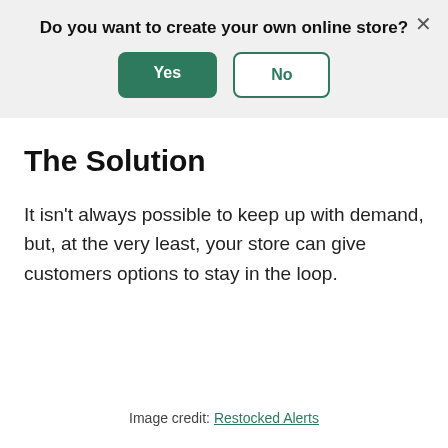[Figure (screenshot): A dialog banner with a light gray background asking 'Do you want to create your own online store?' with a green 'Yes' button and a bordered 'No' button, and an X close button in the top right corner.]
The Solution
It isn’t always possible to keep up with demand, but, at the very least, your store can give customers options to stay in the loop.
Image credit: Restocked Alerts